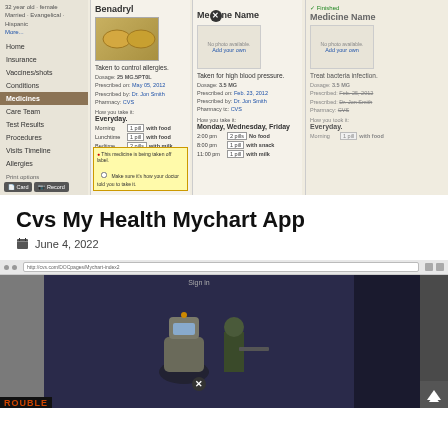[Figure (screenshot): Screenshot of a medical app showing medicine cards for Benadryl and two unnamed medicines, with sidebar navigation, dosage details, and an alert notification about medicine being taken off label.]
Cvs My Health Mychart App
June 4, 2022
[Figure (screenshot): Screenshot of a browser showing a dark-themed video game with animated characters including a robot and a soldier figure, with 'Sign in' text visible.]